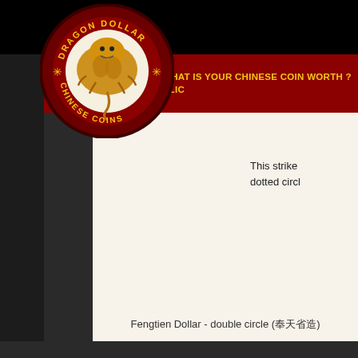[Figure (logo): Dragon Dollar Chinese Coins circular logo with golden dragon on dark red background, text 'DRAGON DOLLAR' on top arc and 'CHINESE COINS' on bottom arc, gold stars on sides]
WHAT IS YOUR CHINESE COIN WORTH ? CLIC
Fengtien Dollar - double circle (奉天省造)
This strike ... dotted circl...
[Figure (other): Loading spinner graphic (circular spokes pattern) inside white content area]